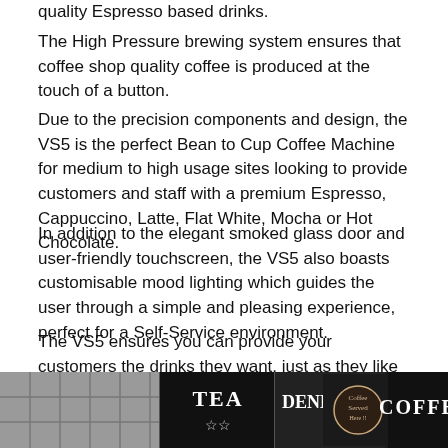quality Espresso based drinks.
The High Pressure brewing system ensures that coffee shop quality coffee is produced at the touch of a button.
Due to the precision components and design, the VS5 is the perfect Bean to Cup Coffee Machine for medium to high usage sites looking to provide customers and staff with a premium Espresso, Cappuccino, Latte, Flat White, Mocha or Hot Chocolate.
In addition to the elegant smoked glass door and user-friendly touchscreen, the VS5 also boasts customisable mood lighting which guides the user through a simple and pleasing experience, perfect for a Self-Service environment.
The VS5 ensures you can provide your customers the drinks they want, just as they like them. The core features are its speed and reliability, so you can relax while providing your customers with a effective coffee experience.
[Figure (photo): Photo strip showing a coffee shop sign area with Tea and Coffee chalkboard signs, including 'Denby D' text and decorative coffee cup illustration]